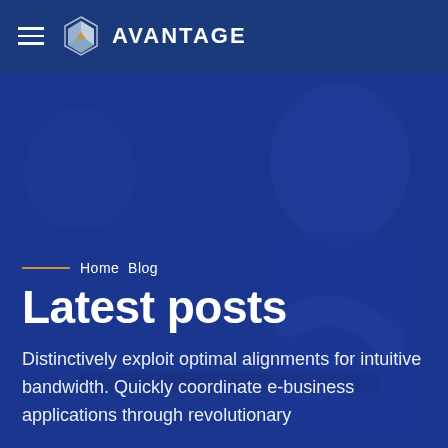AVANTAGE
[Figure (photo): Background photo of two businessmen in conversation, overlaid with a dark blue semi-transparent color wash]
Home  Blog
Latest posts
Distinctively exploit optimal alignments for intuitive bandwidth. Quickly coordinate e-business applications through revolutionary